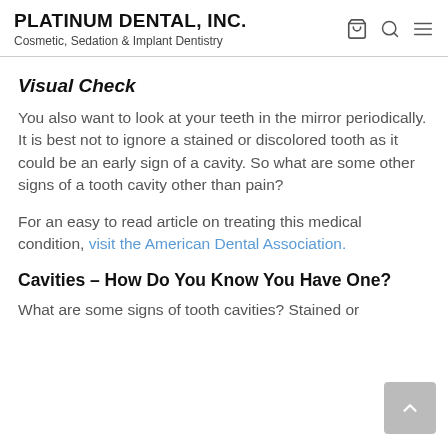PLATINUM DENTAL, INC. — Cosmetic, Sedation & Implant Dentistry
Visual Check
You also want to look at your teeth in the mirror periodically. It is best not to ignore a stained or discolored tooth as it could be an early sign of a cavity. So what are some other signs of a tooth cavity other than pain?
For an easy to read article on treating this medical condition, visit the American Dental Association.
Cavities – How Do You Know You Have One?
What are some signs of tooth cavities? Stained or